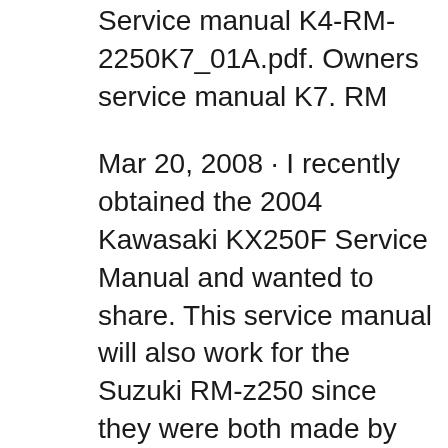Service manual K4-RM-2250K7_01A.pdf. Owners service manual K7. RM
Mar 20, 2008 · I recently obtained the 2004 Kawasaki KX250F Service Manual and wanted to share. This service manual will also work for the Suzuki RM-z250 since they were both made by the KawaZuki connection from 2004-2005 (2006 for Suzuki) which means for each model year, they are identical with the exception of plastic color and graphics. Refine your search for rmz manual. Refine. more Format Format. All Listings - Current page Auction Buy It Now Classified ads. REKLUSE CORE MANUAL CLUTCH PLATES KXF KX250F 250 KX 250F 2004-2016 RMZ 250 04-06. C